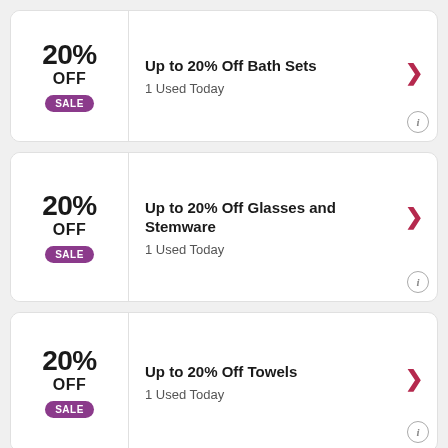20% OFF SALE — Up to 20% Off Bath Sets — 1 Used Today
20% OFF SALE — Up to 20% Off Glasses and Stemware — 1 Used Today
20% OFF SALE — Up to 20% Off Towels — 1 Used Today